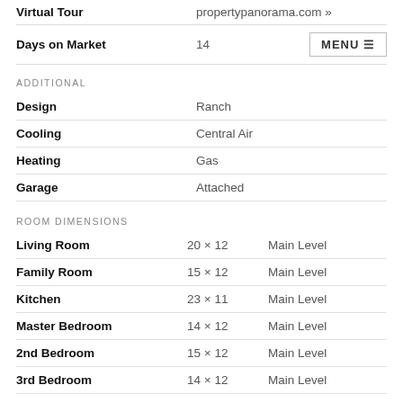|  |  |
| --- | --- |
| Virtual Tour | propertypanorama.com » |
| Days on Market | 14 |
ADDITIONAL
|  |  |
| --- | --- |
| Design | Ranch |
| Cooling | Central Air |
| Heating | Gas |
| Garage | Attached |
ROOM DIMENSIONS
| Room | Dimensions | Level |
| --- | --- | --- |
| Living Room | 20 × 12 | Main Level |
| Family Room | 15 × 12 | Main Level |
| Kitchen | 23 × 11 | Main Level |
| Master Bedroom | 14 × 12 | Main Level |
| 2nd Bedroom | 15 × 12 | Main Level |
| 3rd Bedroom | 14 × 12 | Main Level |